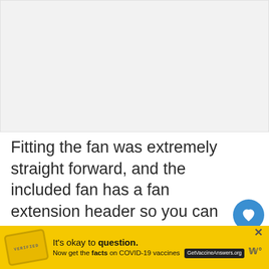[Figure (photo): Large image placeholder area at top of page, light gray background]
Fitting the fan was extremely straight forward, and the included fan has a fan extension header so you can run 2 fans in push/pull without using 2 fan headers. Arctic also include a 2nd fan mount for this too.
[Figure (other): Yellow advertisement banner at the bottom: 'It's okay to question. Now get the facts on COVID-19 vaccines. GetVaccineAnswers.org']